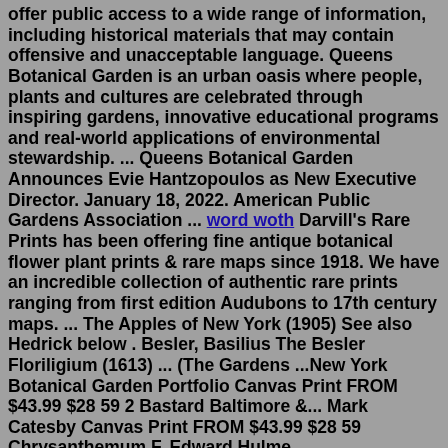offer public access to a wide range of information, including historical materials that may contain offensive and unacceptable language. Queens Botanical Garden is an urban oasis where people, plants and cultures are celebrated through inspiring gardens, innovative educational programs and real-world applications of environmental stewardship. ... Queens Botanical Garden Announces Evie Hantzopoulos as New Executive Director. January 18, 2022. American Public Gardens Association ... word woth Darvill's Rare Prints has been offering fine antique botanical flower plant prints & rare maps since 1918. We have an incredible collection of authentic rare prints ranging from first edition Audubons to 17th century maps. ... The Apples of New York (1905) See also Hedrick below . Besler, Basilius The Besler Floriligium (1613) ... (The Gardens ...New York Botanical Garden Portfolio Canvas Print FROM $43.99 $28 59 2 Bastard Baltimore &... Mark Catesby Canvas Print FROM $43.99 $28 59 Chrysanthemum F. Edward Hulme